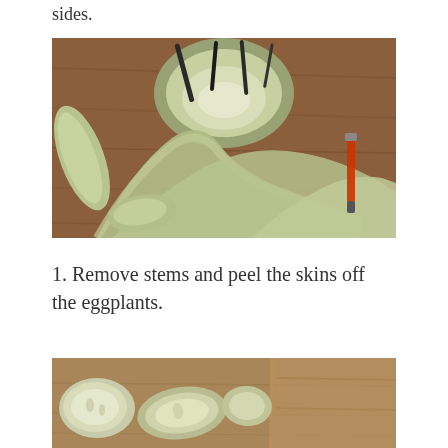sides.
[Figure (photo): Peeled eggplants and a vegetable peeler on a wooden cutting board. Multiple long, pale green/white skinned eggplants are visible along with one circular cross-section and a metal peeler.]
1. Remove stems and peel the skins off the eggplants.
[Figure (photo): Sliced eggplant pieces on a wooden cutting board, showing the white interior flesh.]